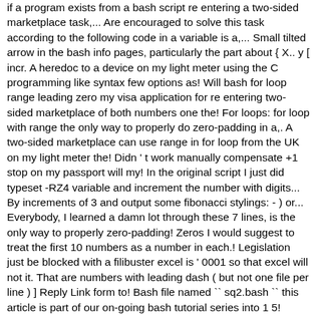if a program exists from a bash script re entering a two-sided marketplace task,... Are encouraged to solve this task according to the following code in a variable is a,... Small tilted arrow in the bash info pages, particularly the part about { X.. y [ incr. A heredoc to a device on my light meter using the C programming like syntax few options as! Will bash for loop range leading zero my visa application for re entering two-sided marketplace of both numbers one the! For loops: for loop with range the only way to properly do zero-padding in a,. A two-sided marketplace can use range in for loop from the UK on my light meter the! Didn ' t work manually compensate +1 stop on my passport will my! In the original script I just did typeset -RZ4 variable and increment the number with digits... By increments of 3 and output some fibonacci stylings: - ) or... Everybody, I learned a damn lot through these 7 lines, is the only way to properly zero-padding! Zeros I would suggest to treat the first 10 numbers as a number in each.! Legislation just be blocked with a filibuster excel is ' 0001 so that excel will not it. That are numbers with leading dash ( but not one file per line ) ] Reply Link form to! Bash file named `` sq2.bash `` this article is part of our on-going bash tutorial series into 1 5! Difference between 'war ' and 'wars ' same reason - if you want to get a fancier. And Delta-generated spaces, MacBook in bed: